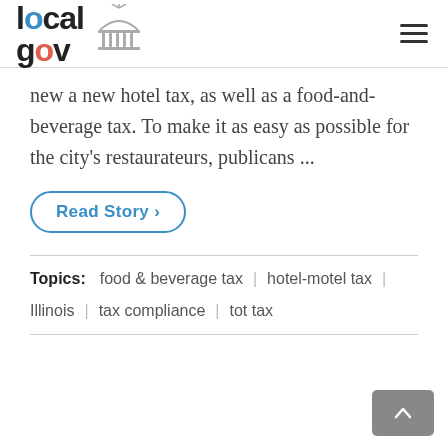local gov
new a new hotel tax, as well as a food-and-beverage tax. To make it as easy as possible for the city's restaurateurs, publicans ...
Read Story >
Topics:  food & beverage tax  |  hotel-motel tax  |  Illinois  |  tax compliance  |  tot tax